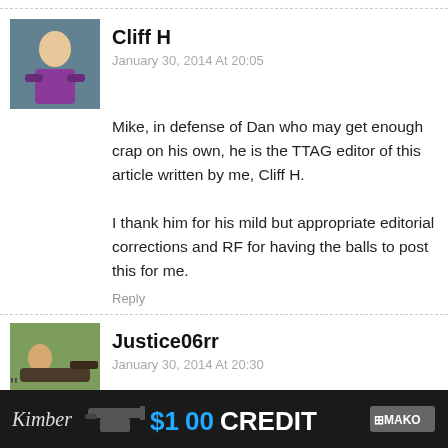Cliff H
January 30, 2014 At 20:05
Mike, in defense of Dan who may get enough crap on his own, he is the TTAG editor of this article written by me, Cliff H.

I thank him for his mild but appropriate editorial corrections and RF for having the balls to post this for me.
Reply
Justice06rr
January 30, 2014 At 20:30
If you are annoyed by Zombie-related items and media, YOU ARE TOO OLD.
[Figure (infographic): Advertisement banner: dark background with Kimber logo, gun image, '$100 CREDIT' text in blue and white, MAKO logo badge]